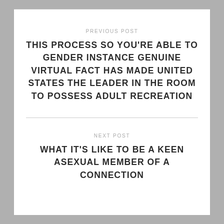PREVIOUS POST
THIS PROCESS SO YOU'RE ABLE TO GENDER INSTANCE GENUINE VIRTUAL FACT HAS MADE UNITED STATES THE LEADER IN THE ROOM TO POSSESS ADULT RECREATION
NEXT POST
WHAT IT'S LIKE TO BE A KEEN ASEXUAL MEMBER OF A CONNECTION